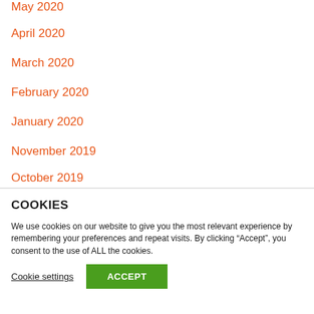May 2020
April 2020
March 2020
February 2020
January 2020
November 2019
October 2019
COOKIES
We use cookies on our website to give you the most relevant experience by remembering your preferences and repeat visits. By clicking “Accept”, you consent to the use of ALL the cookies.
Cookie settings  ACCEPT